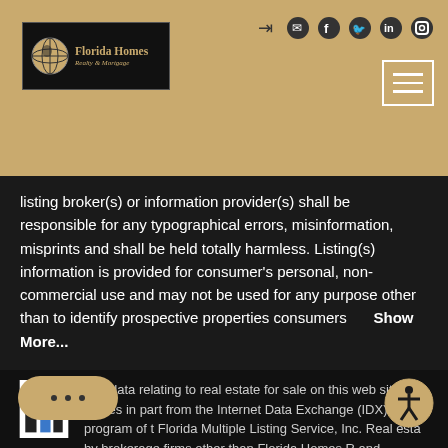[Figure (logo): Florida Homes Realty & Mortgage logo with globe icon on dark background]
[Figure (other): Social media icons (login, email, facebook, twitter, linkedin, instagram) and hamburger menu on gold header]
listing broker(s) or information provider(s) shall be responsible for any typographical errors, misinformation, misprints and shall be held totally harmless. Listing(s) information is provided for consumer's personal, non-commercial use and may not be used for any purpose other than to identify prospective properties consumers   Show More...
[Figure (logo): IDX logo with blue and black vertical bars on white background]
The data relating to real estate for sale on this web site comes in part from the Internet Data Exchange (IDX) program of t Florida Multiple Listing Service, Inc. Real esta by brokerage firms other than Florida Homes R and Members are indicated with the listing brok